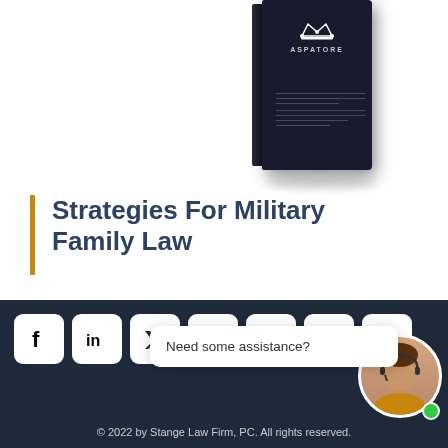[Figure (illustration): Aspatore Books black hardcover book with crown logo, shown at an angle]
Strategies For Military Family Law
Aspatore Books from Thomson Reuters Westlaw
LEARN MORE
Need some assistance?
[Figure (illustration): Social media icons: Facebook, LinkedIn, Twitter, YouTube, Pinterest, Instagram, and another icon in white rounded squares on dark navy footer]
© 2022 by Stange Law Firm, PC. All rights reserved.